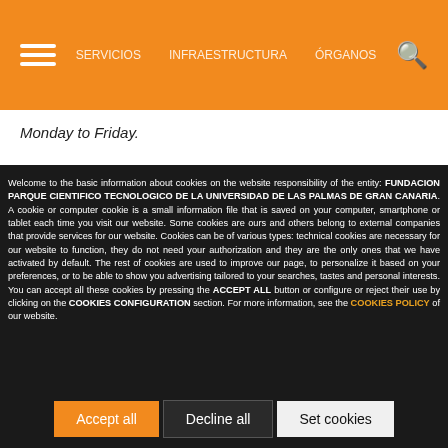Navigation header with hamburger menu and search icon
Monday to Friday.
Welcome to the basic information about cookies on the website responsibility of the entity: FUNDACION PARQUE CIENTIFICO TECNOLOGICO DE LA UNIVERSIDAD DE LAS PALMAS DE GRAN CANARIA. A cookie or computer cookie is a small information file that is saved on your computer, smartphone or tablet each time you visit our website. Some cookies are ours and others belong to external companies that provide services for our website. Cookies can be of various types: technical cookies are necessary for our website to function, they do not need your authorization and they are the only ones that we have activated by default. The rest of cookies are used to improve our page, to personalize it based on your preferences, or to be able to show you advertising tailored to your searches, tastes and personal interests. You can accept all these cookies by pressing the ACCEPT ALL button or configure or reject their use by clicking on the COOKIES CONFIGURATION section. For more information, see the COOKIES POLICY of our website.
Accept all | Decline all | Set cookies